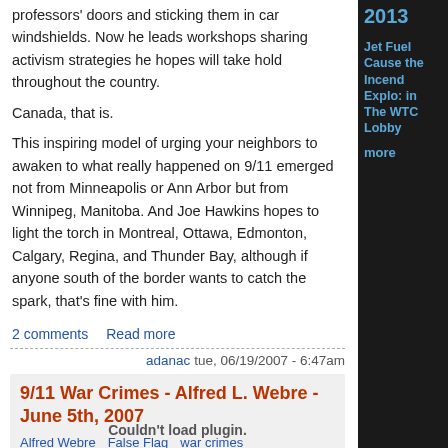professors' doors and sticking them in car windshields. Now he leads workshops sharing activism strategies he hopes will take hold throughout the country.
Canada, that is.
This inspiring model of urging your neighbors to awaken to what really happened on 9/11 emerged not from Minneapolis or Ann Arbor but from Winnipeg, Manitoba. And Joe Hawkins hopes to light the torch in Montreal, Ottawa, Edmonton, Calgary, Regina, and Thunder Bay, although if anyone south of the border wants to catch the spark, that's fine with him.
2 comments   Read more
adanac tue, 06/19/2007 - 6:47am
9/11 War Crimes - Alfred L. Webre - June 5th, 2007
Alfred Webre   False Flag   war crimes
Couldn't load plugin.
2013
Jet Fuel Cause the Incend Explo: in The WTC Lobby
more